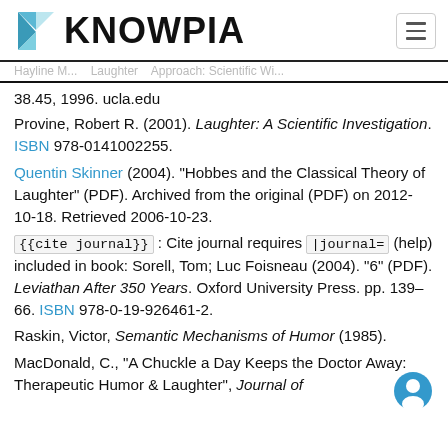KNOWPIA
38.45, 1996. ucla.edu
Provine, Robert R. (2001). Laughter: A Scientific Investigation. ISBN 978-0141002255.
Quentin Skinner (2004). "Hobbes and the Classical Theory of Laughter" (PDF). Archived from the original (PDF) on 2012-10-18. Retrieved 2006-10-23.
{{cite journal}} : Cite journal requires |journal= (help) included in book: Sorell, Tom; Luc Foisneau (2004). "6" (PDF). Leviathan After 350 Years. Oxford University Press. pp. 139–66. ISBN 978-0-19-926461-2.
Raskin, Victor, Semantic Mechanisms of Humor (1985).
MacDonald, C., "A Chuckle a Day Keeps the Doctor Away: Therapeutic Humor & Laughter", Journal of